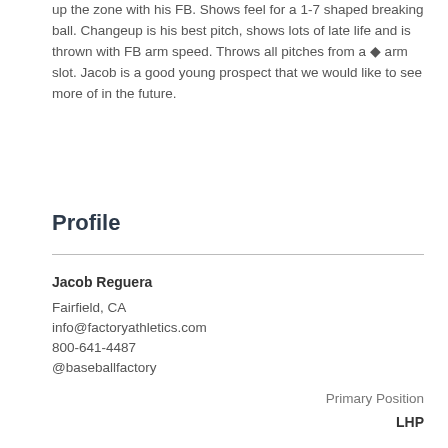up the zone with his FB. Shows feel for a 1-7 shaped breaking ball. Changeup is his best pitch, shows lots of late life and is thrown with FB arm speed. Throws all pitches from a ◆ arm slot. Jacob is a good young prospect that we would like to see more of in the future.
Profile
Jacob Reguera
Fairfield, CA
info@factoryathletics.com
800-641-4487
@baseballfactory
Primary Position
LHP